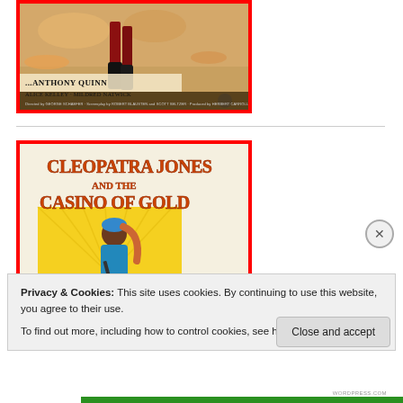[Figure (photo): Movie poster with red border showing Anthony Quinn film. Bottom text reads '...ANTHONY QUINN / ALICE KELLEY · MILDRED NATWICK'. Background shows dramatic action scene with figures.]
[Figure (photo): Movie poster with red border for 'Cleopatra Jones and the Casino of Gold'. Large stylized orange/red lettering on cream background with a figure and yellow sunburst design.]
Privacy & Cookies: This site uses cookies. By continuing to use this website, you agree to their use.
To find out more, including how to control cookies, see here: Cookie Policy
Close and accept